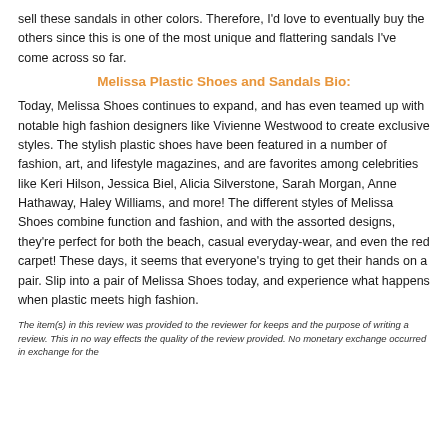sell these sandals in other colors. Therefore, I'd love to eventually buy the others since this is one of the most unique and flattering sandals I've come across so far.
Melissa Plastic Shoes and Sandals Bio:
Today, Melissa Shoes continues to expand, and has even teamed up with notable high fashion designers like Vivienne Westwood to create exclusive styles. The stylish plastic shoes have been featured in a number of fashion, art, and lifestyle magazines, and are favorites among celebrities like Keri Hilson, Jessica Biel, Alicia Silverstone, Sarah Morgan, Anne Hathaway, Haley Williams, and more! The different styles of Melissa Shoes combine function and fashion, and with the assorted designs, they're perfect for both the beach, casual everyday-wear, and even the red carpet! These days, it seems that everyone's trying to get their hands on a pair. Slip into a pair of Melissa Shoes today, and experience what happens when plastic meets high fashion.
The item(s) in this review was provided to the reviewer for keeps and the purpose of writing a review. This in no way effects the quality of the review provided. No monetary exchange occurred in exchange for the